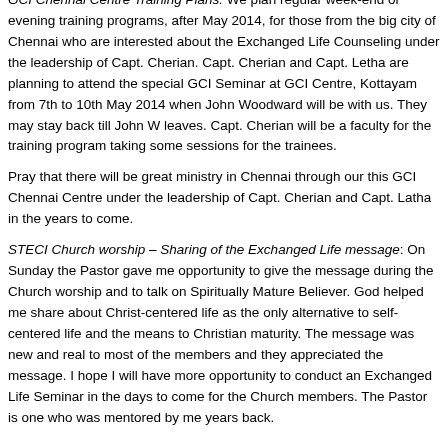GCI Chennai Centre Training Plans: We plan regular week-end or evening training programs, after May 2014, for those from the big city of Chennai who are interested about the Exchanged Life Counseling under the leadership of Capt. Cherian. Capt. Cherian and Capt. Letha are planning to attend the special GCI Seminar at GCI Centre, Kottayam from 7th to 10th May 2014 when John Woodward will be with us. They may stay back till John W leaves. Capt. Cherian will be a faculty for the training program taking some sessions for the trainees.
Pray that there will be great ministry in Chennai through our this GCI Chennai Centre under the leadership of Capt. Cherian and Capt. Latha in the years to come.
STECI Church worship – Sharing of the Exchanged Life message: On Sunday the Pastor gave me opportunity to give the message during the Church worship and to talk on Spiritually Mature Believer. God helped me share about Christ-centered life as the only alternative to self-centered life and the means to Christian maturity. The message was new and real to most of the members and they appreciated the message. I hope I will have more opportunity to conduct an Exchanged Life Seminar in the days to come for the Church members. The Pastor is one who was mentored by me years back.